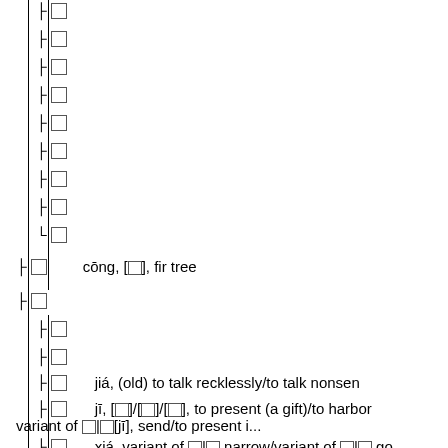├ □
├ □
├ □
├ □
├ □
├ □
├ □
├ □
└ □
├ □    cōng, [□], fir tree
├ □
├ □
├ □
├ □    jiá, (old) to talk recklessly/to talk nonsense
├ □    jī, [□]/[□]/[□], to present (a gift)/to harbor variant of □|□[jī], send/to present i...
├ □    xiá, variant of □|□ narrow/variant of □|□ go